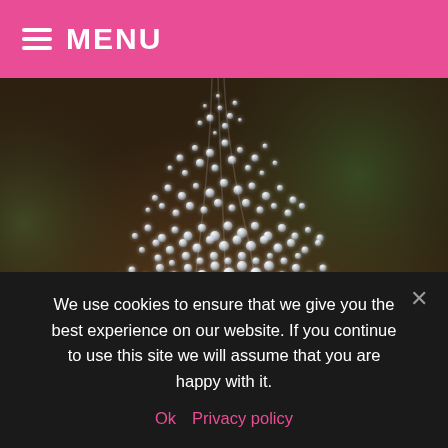MENU
[Figure (photo): Close-up photograph of water droplets/water fountain spray falling against a dark blurred background, creating a cascade of glistening water drops]
Posted in Lifestyle, Plants, Seasonal | Tagged #gardeninginwinter, #peonies, #peoniesinwinter, #primrosehallpeoniesuk, #ukgardening, #winter, #wintergardening, #wintergardens, gardening
We use cookies to ensure that we give you the best experience on our website. If you continue to use this site we will assume that you are happy with it.
Ok   Privacy policy